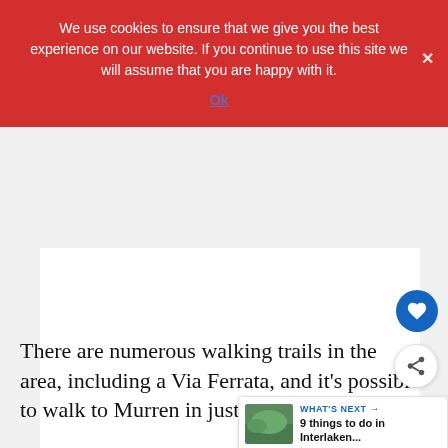We use cookies to ensure that we give you the best experience on our website. If you continue to use this site we will assume that you are happy with it.
Ok
[Figure (screenshot): White rectangular advertisement/image area]
There are numerous walking trails in the area, including a Via Ferrata, and it's possible to walk to Murren in just an hour.
[Figure (infographic): What's Next widget showing '9 things to do in Interlaken...' with a thumbnail of a green landscape]